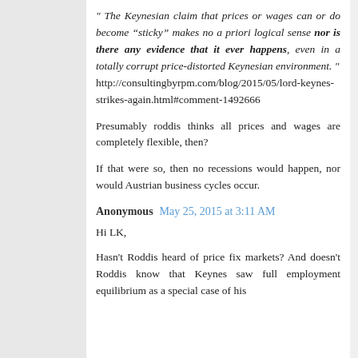" The Keynesian claim that prices or wages can or do become “sticky” makes no a priori logical sense nor is there any evidence that it ever happens, even in a totally corrupt price-distorted Keynesian environment. " http://consultingbyrpm.com/blog/2015/05/lord-keynes-strikes-again.html#comment-1492666
Presumably roddis thinks all prices and wages are completely flexible, then?
If that were so, then no recessions would happen, nor would Austrian business cycles occur.
Anonymous May 25, 2015 at 3:11 AM
Hi LK,
Hasn't Roddis heard of price fix markets? And doesn't Roddis know that Keynes saw full employment equilibrium as a special case of his